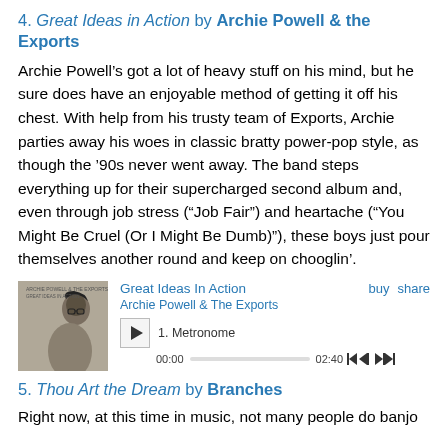4. Great Ideas in Action by Archie Powell & the Exports
Archie Powell’s got a lot of heavy stuff on his mind, but he sure does have an enjoyable method of getting it off his chest. With help from his trusty team of Exports, Archie parties away his woes in classic bratty power-pop style, as though the ’90s never went away. The band steps everything up for their supercharged second album and, even through job stress (“Job Fair”) and heartache (“You Might Be Cruel (Or I Might Be Dumb)”), these boys just pour themselves another round and keep on chooglin’.
[Figure (screenshot): Music player widget showing album art for 'Great Ideas In Action' by Archie Powell & The Exports, with track '1. Metronome', play button, time bar showing 00:00 to 02:40, and buy/share links.]
5. Thou Art the Dream by Branches
Right now, at this time in music, not many people do banjo